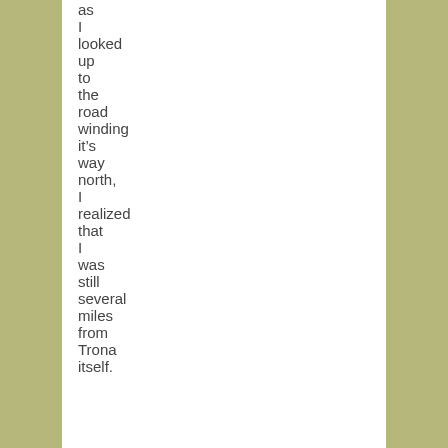as I looked up to the road winding it’s way north, I realized that I was still several miles from Trona itself.